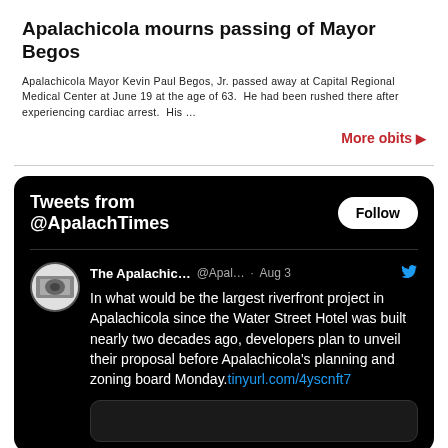Apalachicola mourns passing of Mayor Begos
Apalachicola Mayor Kevin Paul Begos, Jr. passed away at Capital Regional Medical Center at June 19 at the age of 63.  He had been rushed there after experiencing cardiac arrest.  His …
More obits ▶
[Figure (screenshot): Twitter/X widget showing tweets from @ApalachTimes. Header shows 'Tweets from @ApalachTimes' with a Follow button. A tweet from 'The Apalachic... @Apal... · Aug 3' reads: 'In what would be the largest riverfront project in Apalachicola since the Water Street Hotel was built nearly two decades ago, developers plan to unveil their proposal before Apalachicola's planning and zoning board Monday.tinyurl.com/4yscnft7'. A tweet preview box is shown at the bottom.]